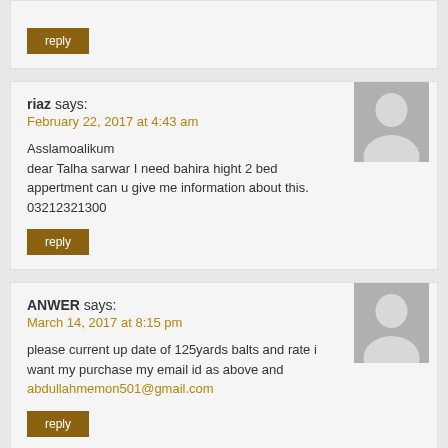reply
riaz says:
February 22, 2017 at 4:43 am

Asslamoalikum
dear Talha sarwar I need bahira hight 2 bed appertment can u give me information about this.
03212321300
reply
ANWER says:
March 14, 2017 at 8:15 pm

please current up date of 125yards balts and rate i want my purchase my email id as above and abdullahmemon501@gmail.com
reply